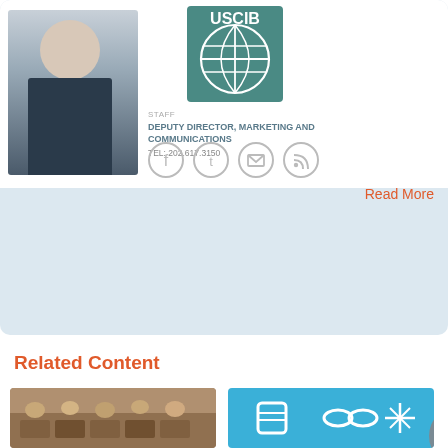[Figure (logo): USCIB logo - globe with grid lines in teal/green square]
DEPUTY DIRECTOR OF MARKETING AND COMMUNICATIONS
TEL: 202.617.3150
[Figure (photo): Social media icons: Facebook, Twitter, Email, RSS feed]
Kira Yevtukhova manages USCIB's print and online publications, including the website, e-newsletter and quarterly magazine, and serves as the organization's digital media strategist. Prior to this role, Kira worked for over five years within USCIB's Policy Department, focusing on climate change, environment, nutrition, health, and chemicals related policy issues. She is a graduate of Mount Holyoke College and has an MBA from Georgetown University's McDonough School of Business.
Read More
Related Content
[Figure (photo): Factory workers at sewing machines, women wearing hats]
[Figure (illustration): Blue background with illustrated icons related to labor/policy]